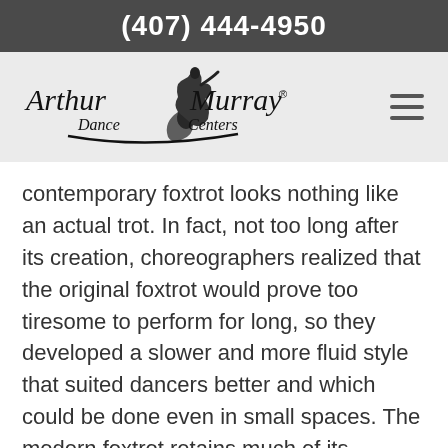(407) 444-4950
[Figure (logo): Arthur Murray Dance Centers logo with stylized dancer silhouette]
contemporary foxtrot looks nothing like an actual trot. In fact, not too long after its creation, choreographers realized that the original foxtrot would prove too tiresome to perform for long, so they developed a slower and more fluid style that suited dancers better and which could be done even in small spaces. The modern foxtrot retains much of its ancestral characteristics, however, not just in name but also in the use of 4/4 time and its reputation for being a casual yet intricate social dance that, as one commentator put